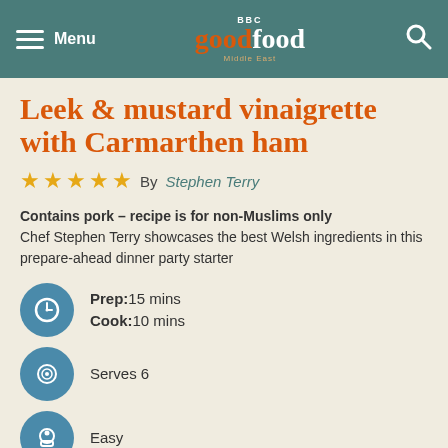BBC Good Food Middle East
Leek & mustard vinaigrette with Carmarthen ham
By Stephen Terry
Contains pork – recipe is for non-Muslims only
Chef Stephen Terry showcases the best Welsh ingredients in this prepare-ahead dinner party starter
Prep: 15 mins
Cook: 10 mins
Serves 6
Easy
Nutrition per serving
kcal  fat  saturates  carbs